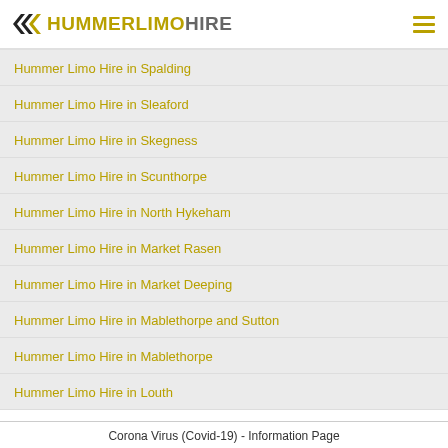HUMMERLIMOHIRE
Hummer Limo Hire in Spalding
Hummer Limo Hire in Sleaford
Hummer Limo Hire in Skegness
Hummer Limo Hire in Scunthorpe
Hummer Limo Hire in North Hykeham
Hummer Limo Hire in Market Rasen
Hummer Limo Hire in Market Deeping
Hummer Limo Hire in Mablethorpe and Sutton
Hummer Limo Hire in Mablethorpe
Hummer Limo Hire in Louth
Corona Virus (Covid-19) - Information Page